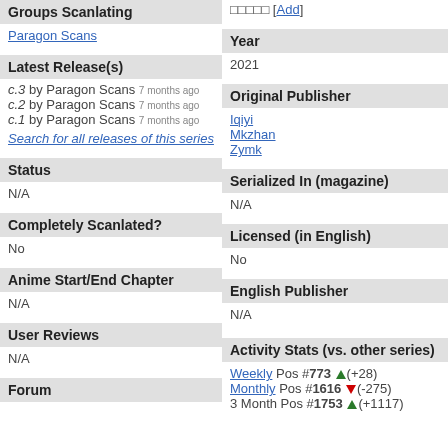Groups Scanlating
Paragon Scans
□□□□□ [Add]
Year
2021
Latest Release(s)
c.3 by Paragon Scans 7 months ago
c.2 by Paragon Scans 7 months ago
c.1 by Paragon Scans 7 months ago
Search for all releases of this series
Original Publisher
Iqiyi
Mkzhan
Zymk
Status
N/A
Serialized In (magazine)
N/A
Completely Scanlated?
No
Licensed (in English)
No
Anime Start/End Chapter
N/A
English Publisher
N/A
User Reviews
N/A
Activity Stats (vs. other series)
Weekly Pos #773 ▲(+28)
Monthly Pos #1616 ▼(-275)
3 Month Pos #1753 ▲(+1117)
Forum